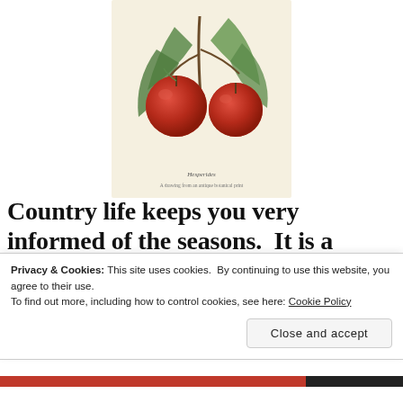[Figure (illustration): Vintage botanical illustration of red fruit (apples or oranges) on a branch with green leaves, on a cream/beige background, with small text caption below the image.]
Country life keeps you very informed of the seasons.  It is a harder life, in some ways . . it is more beautiful, in some ways.  Tending a big yard is hard, but watching wild honeysuckle climb up the woodland trees is beautiful.
Privacy & Cookies: This site uses cookies.  By continuing to use this website, you agree to their use.
To find out more, including how to control cookies, see here: Cookie Policy
Close and accept